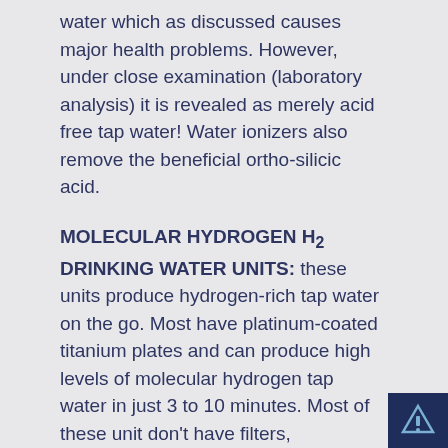water which as discussed causes major health problems. However, under close examination (laboratory analysis) it is revealed as merely acid free tap water! Water ionizers also remove the beneficial ortho-silicic acid.
MOLECULAR HYDROGEN H2 DRINKING WATER UNITS:
these units produce hydrogen-rich tap water on the go. Most have platinum-coated titanium plates and can produce high levels of molecular hydrogen tap water in just 3 to 10 minutes. Most of these unit don't have filters,